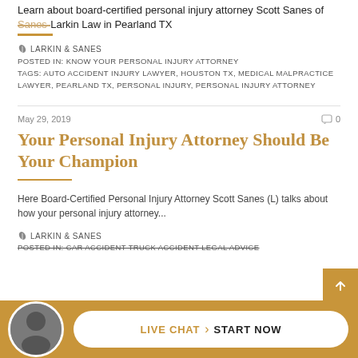Learn about board-certified personal injury attorney Scott Sanes of Sanes-Larkin Law in Pearland TX
LARKIN & SANES
POSTED IN: KNOW YOUR PERSONAL INJURY ATTORNEY
TAGS: AUTO ACCIDENT INJURY LAWYER, HOUSTON TX, MEDICAL MALPRACTICE LAWYER, PEARLAND TX, PERSONAL INJURY, PERSONAL INJURY ATTORNEY
May 29, 2019
Your Personal Injury Attorney Should Be Your Champion
Here Board-Certified Personal Injury Attorney Scott Sanes (L) talks about how your personal injury attorney...
LARKIN & SANES
POSTED IN: CAR ACCIDENT TRUCK ACCIDENT LEGAL ADVICE